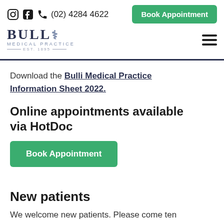(02) 4284 4622 | Book Appointment | BULLI MEDICAL PRACTICE EST. 1895
Download the Bulli Medical Practice Information Sheet 2022.
Online appointments available via HotDoc
Book Appointment
New patients
We welcome new patients. Please come ten